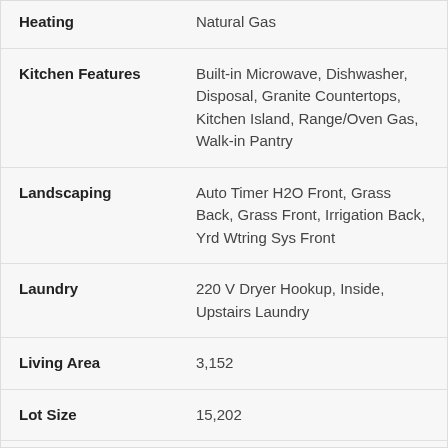| Feature | Value |
| --- | --- |
| Heating | Natural Gas |
| Kitchen Features | Built-in Microwave, Dishwasher, Disposal, Granite Countertops, Kitchen Island, Range/Oven Gas, Walk-in Pantry |
| Landscaping | Auto Timer H2O Front, Grass Back, Grass Front, Irrigation Back, Yrd Wtring Sys Front |
| Laundry | 220 V Dryer Hookup, Inside, Upstairs Laundry |
| Living Area | 3,152 |
| Lot Size | 15,202 |